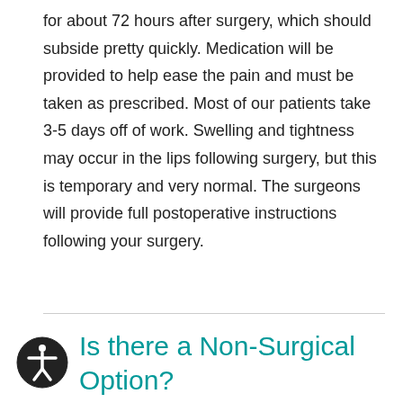for about 72 hours after surgery, which should subside pretty quickly. Medication will be provided to help ease the pain and must be taken as prescribed. Most of our patients take 3-5 days off of work. Swelling and tightness may occur in the lips following surgery, but this is temporary and very normal. The surgeons will provide full postoperative instructions following your surgery.
Is there a Non-Surgical Option?